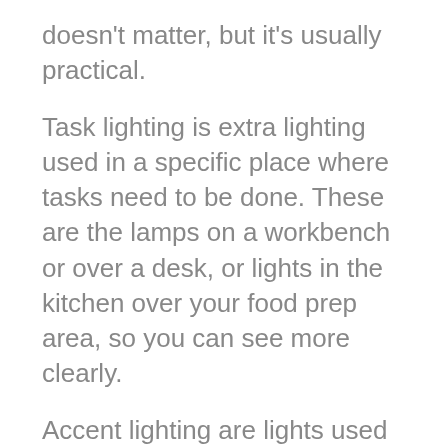doesn't matter, but it's usually practical.
Task lighting is extra lighting used in a specific place where tasks need to be done. These are the lamps on a workbench or over a desk, or lights in the kitchen over your food prep area, so you can see more clearly.
Accent lighting are lights used in a decorative way, especially to highlight specific objects. While most rooms definitely need the first two, interior designers find creative ways to place accent lighting to help bring everything together.
So now that you know the types of